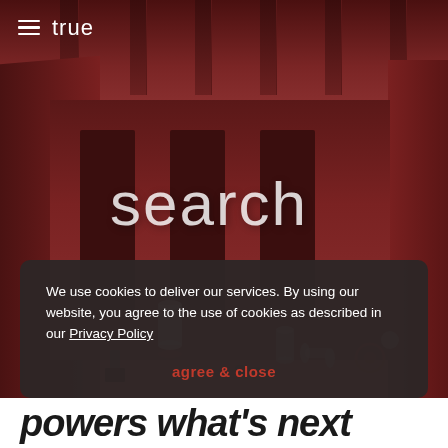[Figure (illustration): 3D rendered red room/corridor scene with scattered metallic objects on the floor and the word 'search' overlaid in white text]
≡ true
We use cookies to deliver our services. By using our website, you agree to the use of cookies as described in our Privacy Policy
agree & close
powers what's next